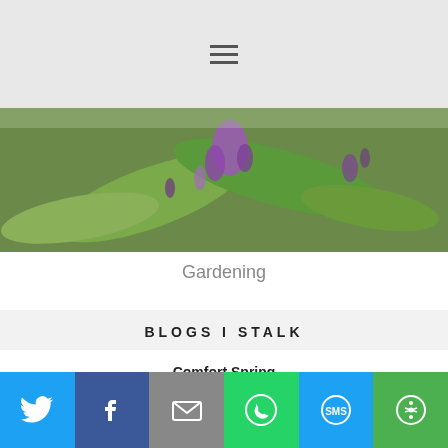[Figure (photo): Hero image showing purple flowering plants (likely beautyberry) with green leaves, and a hamburger menu icon at top center on a light gray background]
Gardening
BLOGS I STALK
Comfort Spring
Another Great Trip to Northern Michigan
Karin's Kottage
Karins Kottage Linky Party- August 16th
The Welcomed Guest
[Figure (infographic): Social media sharing bar with Twitter, Facebook, Email, WhatsApp, SMS, and More buttons]